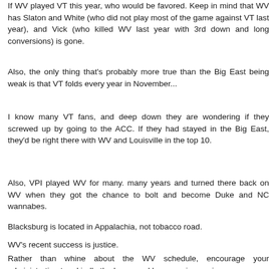If WV played VT this year, who would be favored. Keep in mind that WV has Slaton and White (who did not play most of the game against VT last year), and Vick (who killed WV last year with 3rd down and long conversions) is gone.
Also, the only thing that's probably more true than the Big East being weak is that VT folds every year in November...
I know many VT fans, and deep down they are wondering if they screwed up by going to the ACC. If they had stayed in the Big East, they'd be right there with WV and Louisville in the top 10.
Also, VPI played WV for many. many years and turned there back on WV when they got the chance to bolt and become Duke and NC wannabes.
Blacksburg is located in Appalachia, not tobacco road.
WV's recent success is justice.
Rather than whine about the WV schedule, encourage your administration to rekindle the home and home series again.